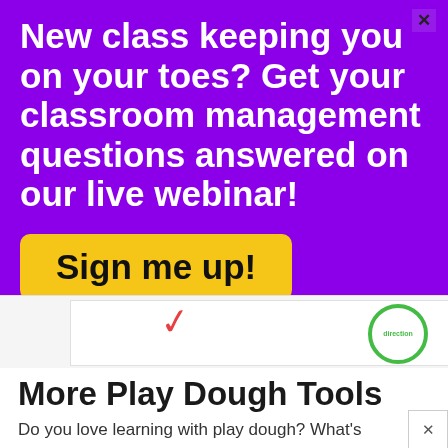New class keeping you on your toes? Get your classroom management questions answered on our live webinar!
Sign me up!
[Figure (screenshot): Partial screenshot of a worksheet or activity with a red checkmark and a green circle stamp labeled 'direction']
More Play Dough Tools
Do you love learning with play dough? What's your favorite tool? This week in the #toolsforlearning series a group of kid bloggers are bringing you some awesome ideas for making learning with play dough fun! Check out all the ideas below!